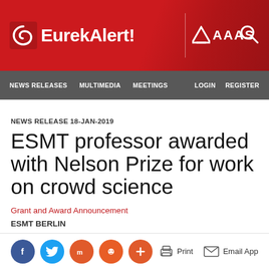[Figure (logo): EurekAlert! AAAS logo on red header banner with search icon]
NEWS RELEASES   MULTIMEDIA   MEETINGS   LOGIN   REGISTER
NEWS RELEASE 18-JAN-2019
ESMT professor awarded with Nelson Prize for work on crowd science
Grant and Award Announcement
ESMT BERLIN
[Figure (infographic): Social sharing buttons (Facebook, Twitter, Mix, Reddit, Plus) and action buttons (Print, Email App)]